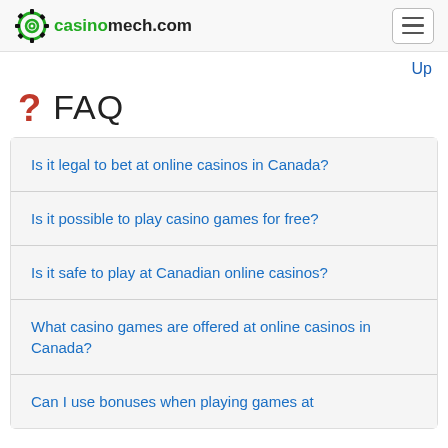casinomech.com
Up
? FAQ
Is it legal to bet at online casinos in Canada?
Is it possible to play casino games for free?
Is it safe to play at Canadian online casinos?
What casino games are offered at online casinos in Canada?
Can I use bonuses when playing games at